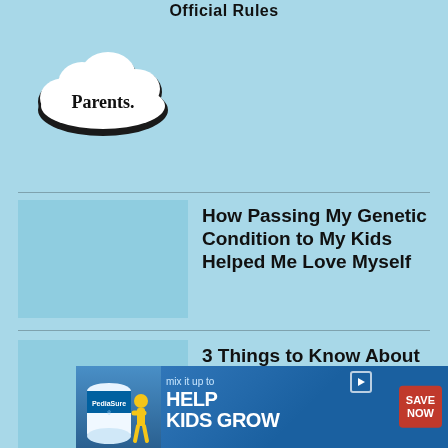Official Rules
[Figure (logo): Parents magazine logo — stylized cloud shape with 'Parents.' text in bold serif inside]
How Passing My Genetic Condition to My Kids Helped Me Love Myself
3 Things to Know About Medical Advice on Social Media
[Figure (photo): PediaSure advertisement banner: 'mix it up to HELP KIDS GROW' with SAVE NOW button]